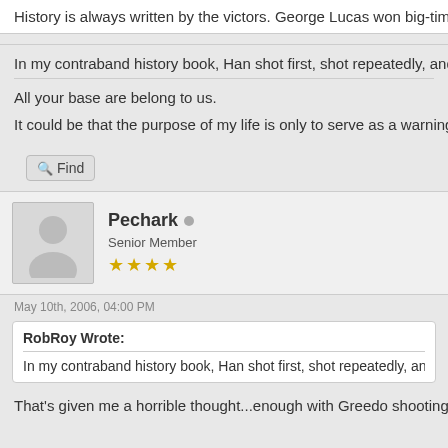History is always written by the victors. George Lucas won big-time
In my contraband history book, Han shot first, shot repeatedly, and ne
All your base are belong to us.
It could be that the purpose of my life is only to serve as a warning to othe
Find
Pechark
Senior Member
★★★★
May 10th, 2006, 04:00 PM
RobRoy Wrote:
In my contraband history book, Han shot first, shot repeatedly, and
That's given me a horrible thought...enough with Greedo shooting firs